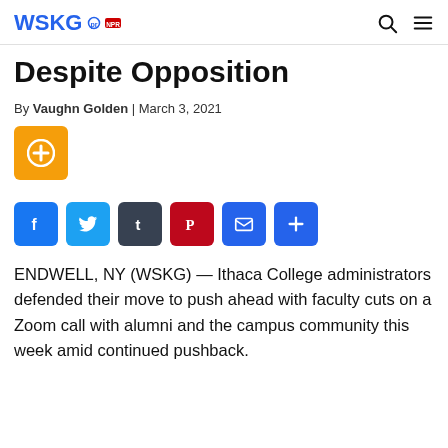WSKG
Despite Opposition
By Vaughn Golden | March 3, 2021
[Figure (logo): Orange plus/add button]
[Figure (infographic): Social share bar with Facebook, Twitter, Tumblr, Pinterest, Email, and Share buttons]
ENDWELL, NY (WSKG) — Ithaca College administrators defended their move to push ahead with faculty cuts on a Zoom call with alumni and the campus community this week amid continued pushback.